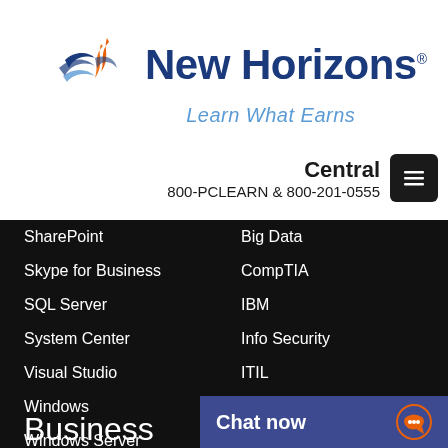[Figure (logo): New Horizons logo with stylized wing/sail icon in blue and orange, with tagline 'Learn What Earns']
Central
800-PCLEARN  & 800-201-0555
SharePoint
Skype for Business
SQL Server
System Center
Visual Studio
Windows
Windows Server
Big Data
CompTIA
IBM
Info Security
ITIL
Red Hat
VMware
Business
Chat now